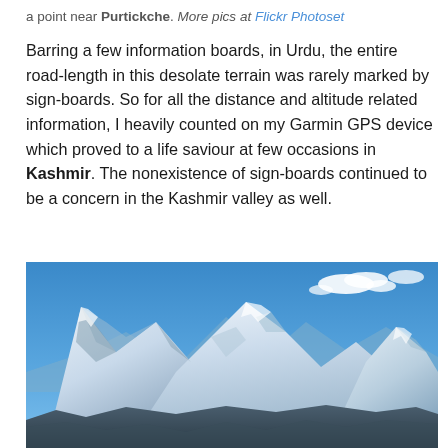a point near Purtickche. More pics at Flickr Photoset
Barring a few information boards, in Urdu, the entire road-length in this desolate terrain was rarely marked by sign-boards. So for all the distance and altitude related information, I heavily counted on my Garmin GPS device which proved to a life saviour at few occasions in Kashmir. The nonexistence of sign-boards continued to be a concern in the Kashmir valley as well.
[Figure (photo): Snow-capped mountain peaks against a blue sky with some clouds, likely in the Himalayan or Karakoram range near Kashmir/Ladakh region.]